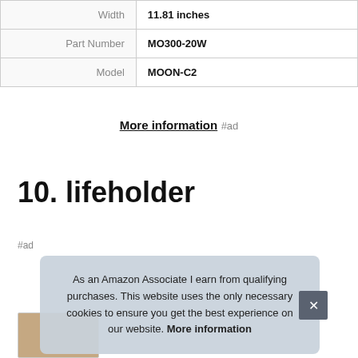| Attribute | Value |
| --- | --- |
| Width | 11.81 inches |
| Part Number | MO300-20W |
| Model | MOON-C2 |
More information #ad
10. lifeholder
#ad
As an Amazon Associate I earn from qualifying purchases. This website uses the only necessary cookies to ensure you get the best experience on our website. More information